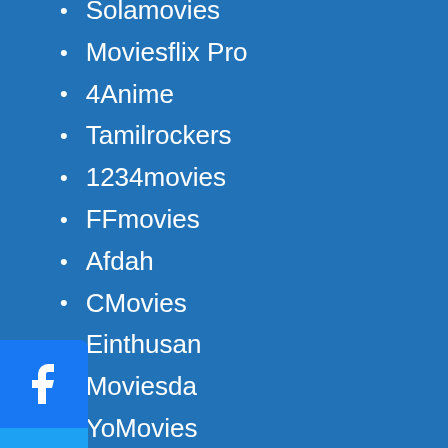Solamovies
Moviesflix Pro
4Anime
Tamilrockers
1234movies
FFmovies
Afdah
CMovies
Einthusan
Moviesda
YoMovies
GoMovies
123movies
Los Movies
Project Free Tv
[Figure (infographic): Social share buttons: Facebook (blue), Twitter (light blue), Pinterest (red)]